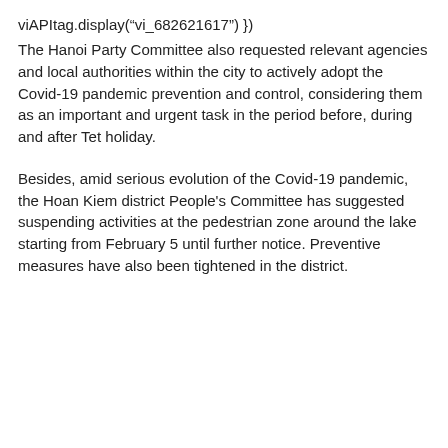viAPItag.display(“vi_682621617”) })
The Hanoi Party Committee also requested relevant agencies and local authorities within the city to actively adopt the Covid-19 pandemic prevention and control, considering them as an important and urgent task in the period before, during and after Tet holiday.
Besides, amid serious evolution of the Covid-19 pandemic, the Hoan Kiem district People's Committee has suggested suspending activities at the pedestrian zone around the lake starting from February 5 until further notice. Preventive measures have also been tightened in the district.